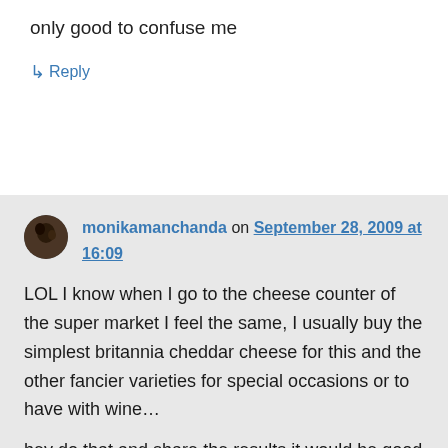only good to confuse me
↳ Reply
monikamanchanda on September 28, 2009 at 16:09
LOL I know when I go to the cheese counter of the super market I feel the same, I usually buy the simplest britannia cheddar cheese for this and the other fancier varieties for special occasions or to have with wine…

hey do that and share the results it would be good
↳ Reply